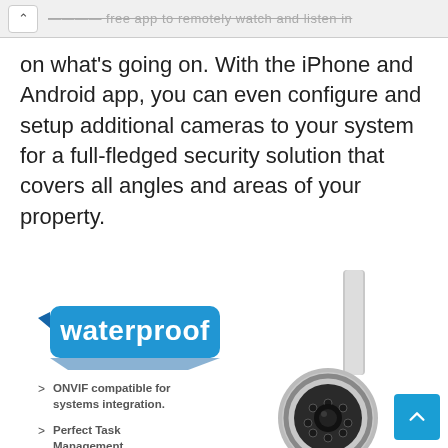...free app to remotely watch and listen in
on what's going on. With the iPhone and Android app, you can even configure and setup additional cameras to your system for a full-fledged security solution that covers all angles and areas of your property.
[Figure (infographic): Waterproof badge (blue label with white text reading 'waterproof') alongside a partial image of a security camera with chrome housing and IR LEDs. Feature list items: 'ONVIF compatible for systems integration.' and 'Perfect Task Management']